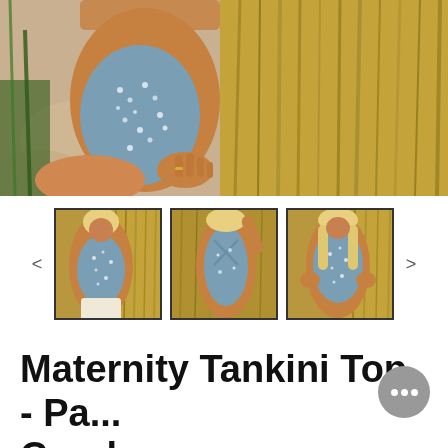[Figure (photo): Close-up photo of a pregnant woman in a blue floral tankini top, holding her baby bump, outdoors with tall golden grasses in background]
[Figure (photo): Three thumbnail photos of a blonde woman modeling a blue floral maternity tankini top outdoors among tall grasses]
Maternity Tankini Top - Pa... Coral